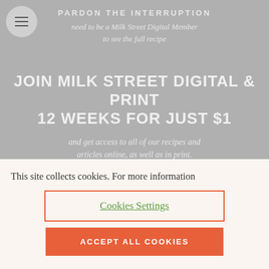PARDON THE INTERRUPTION
need to be a Milk Street Digital Member to see the full recipe
JOIN MILK STREET DIGITAL & PRINT 12 WEEKS FOR JUST $1
and get access to all of our recipes and articles online, as well as in print.
This site collects cookies. For more information
Cookies Settings
ACCEPT ALL COOKIES